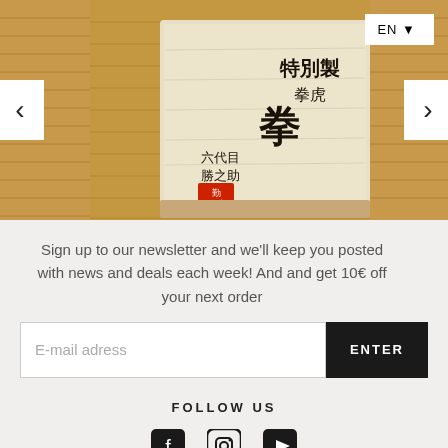[Figure (photo): Photo of a Japanese wooden sake box/masu with Japanese calligraphy characters and a red stamp, placed on tatami mat flooring. Navigation arrows on left and right sides, EN language selector in top right corner.]
Sign up to our newsletter and we'll keep you posted with news and deals each week! And and get 10€ off your next order
E-mail adress
ENTER
FOLLOW US